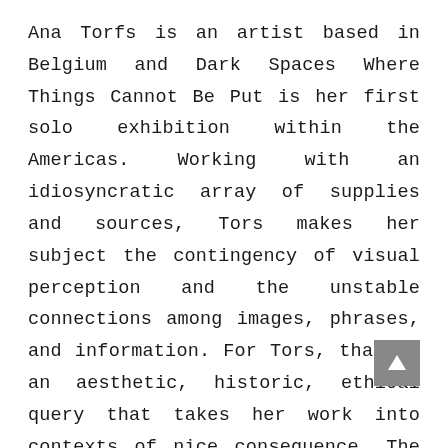Ana Torfs is an artist based in Belgium and Dark Spaces Where Things Cannot Be Put is her first solo exhibition within the Americas. Working with an idiosyncratic array of supplies and sources, Tors makes her subject the contingency of visual perception and the unstable connections among images, phrases, and information. For Tors, that is an aesthetic, historic, ethical query that takes her work into contexts of nice consequence. The installation The Parrot and the Nightingale, a Phantasmagoria exemplifies her curiosity in language, translation, and energy. In it, Tors draws from Christopher Columbus' travel